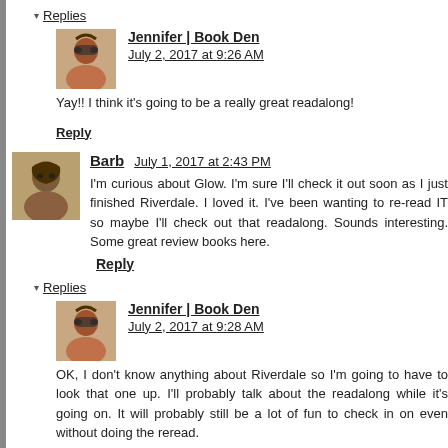▾ Replies
[Figure (photo): Avatar photo of Jennifer, a woman with sunglasses]
Jennifer | Book Den   July 2, 2017 at 9:26 AM
Yay!! I think it's going to be a really great readalong!
Reply
[Figure (photo): Avatar photo of Barb, a woman outdoors]
Barb  July 1, 2017 at 2:43 PM
I'm curious about Glow. I'm sure I'll check it out soon as I just finished Riverdale. I loved it. I've been wanting to re-read IT so maybe I'll check out that readalong. Sounds interesting. Some great review books here.
Reply
▾ Replies
[Figure (photo): Avatar photo of Jennifer, a woman with sunglasses]
Jennifer | Book Den   July 2, 2017 at 9:28 AM
OK, I don't know anything about Riverdale so I'm going to have to look that one up. I'll probably talk about the readalong while it's going on. It will probably still be a lot of fun to check in on even without doing the reread.
Reply